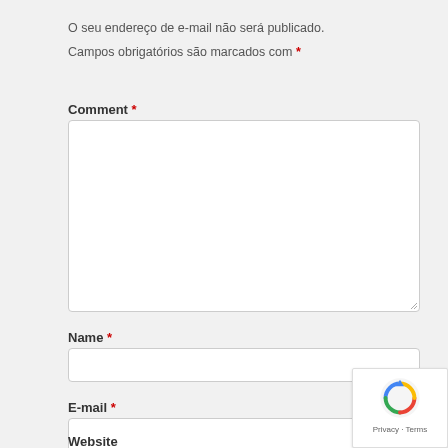O seu endereço de e-mail não será publicado.
Campos obrigatórios são marcados com *
Comment *
[Figure (screenshot): Comment text area input field (empty)]
Name *
[Figure (screenshot): Name text input field (empty)]
E-mail *
[Figure (screenshot): E-mail text input field (empty)]
Website
[Figure (screenshot): reCAPTCHA badge with logo and Privacy - Terms text]